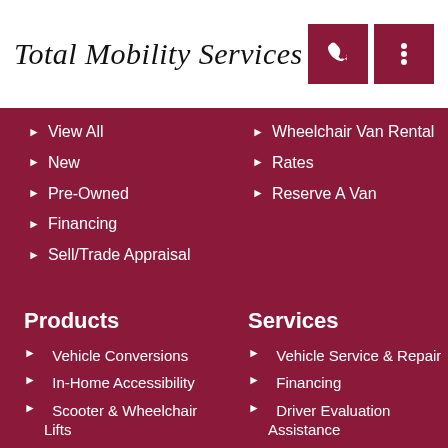Total Mobility Services
View All
New
Pre-Owned
Financing
Sell/Trade Appraisal
Wheelchair Van Rental
Rates
Reserve A Van
Products
Services
Vehicle Conversions
In-Home Accessibility
Scooter & Wheelchair Lifts
Vehicle Transfer Seating
Driving Aids
+3 More
Vehicle Service & Repair
Financing
Driver Evaluation Assistance
Trade Appraisal
Veterans Assistance